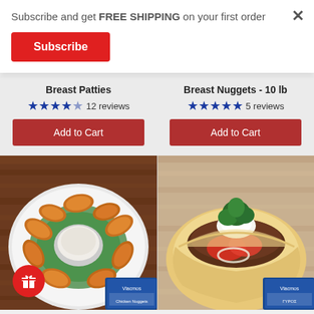Subscribe and get FREE SHIPPING on your first order
Subscribe
Breast Patties
★★★★½ 12 reviews
Add to Cart
Breast Nuggets - 10 lb
★★★★★ 5 reviews
Add to Cart
[Figure (photo): Plate of golden fried chicken nuggets arranged around a bowl of dipping sauce with parsley garnish, with product package in corner]
[Figure (photo): Gyros sandwich in pita bread with tomato, onion, tzatziki sauce and fresh herb garnish, with product package in corner]